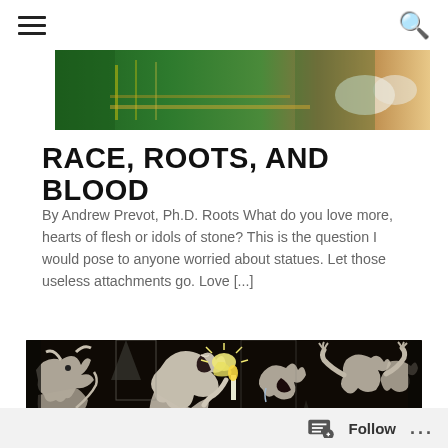Navigation menu and search icons
[Figure (photo): Partial photograph showing green and gold religious or ceremonial vestments with a person's hands visible]
RACE, ROOTS, AND BLOOD
By Andrew Prevot, Ph.D. Roots What do you love more, hearts of flesh or idols of stone? This is the question I would pose to anyone worried about statues. Let those useless attachments go. Love [...]
[Figure (illustration): Picasso's Guernica painting — a cubist black, white and grey large painting depicting the suffering of people and animals in the bombing of Guernica during the Spanish Civil War, featuring a bull, a horse, a lamp, screaming figures, and a dismembered soldier]
Follow ...